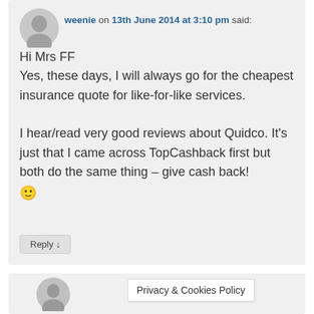[Figure (photo): User avatar - grey silhouette placeholder image]
weenie on 13th June 2014 at 3:10 pm said:
Hi Mrs FF
Yes, these days, I will always go for the cheapest insurance quote for like-for-like services.

I hear/read very good reviews about Quidco. It's just that I came across TopCashback first but both do the same thing – give cash back! 🙂
Reply ↓
[Figure (photo): Second user avatar - grey silhouette placeholder image]
Privacy & Cookies Policy